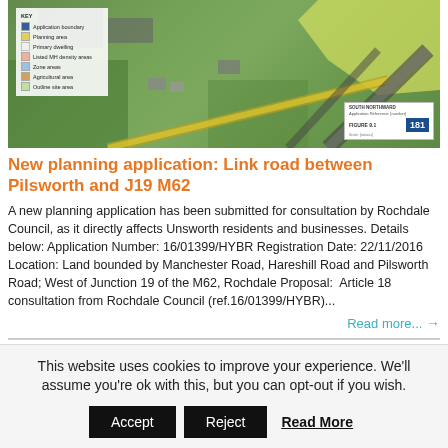[Figure (map): Aerial/satellite map showing land bounded by Manchester Road, Hareshill Road and Pilsworth Road; West of Junction 19 of the M62, Rochdale. Map includes a legend and figure badge labeled 'FIGURE 9.1' and '181'.]
New planning application: Link road between Pilsworth and J19 M62
A new planning application has been submitted for consultation by Rochdale Council, as it directly affects Unsworth residents and businesses. Details below: Application Number: 16/01399/HYBR Registration Date: 22/11/2016 Location: Land bounded by Manchester Road, Hareshill Road and Pilsworth Road; West of Junction 19 of the M62, Rochdale Proposal:  Article 18 consultation from Rochdale Council (ref.16/01399/HYBR)...
Read more... →
This website uses cookies to improve your experience. We'll assume you're ok with this, but you can opt-out if you wish.
Accept   Reject   Read More